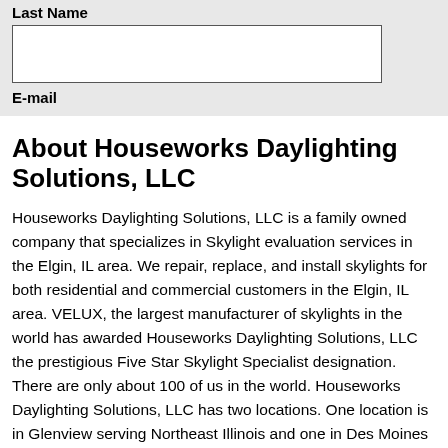Last Name
E-mail
About Houseworks Daylighting Solutions, LLC
Houseworks Daylighting Solutions, LLC is a family owned company that specializes in Skylight evaluation services in the Elgin, IL area. We repair, replace, and install skylights for both residential and commercial customers in the Elgin, IL area. VELUX, the largest manufacturer of skylights in the world has awarded Houseworks Daylighting Solutions, LLC the prestigious Five Star Skylight Specialist designation. There are only about 100 of us in the world. Houseworks Daylighting Solutions, LLC has two locations. One location is in Glenview serving Northeast Illinois and one in Des Moines serving Central Iowa. We stand behind all our